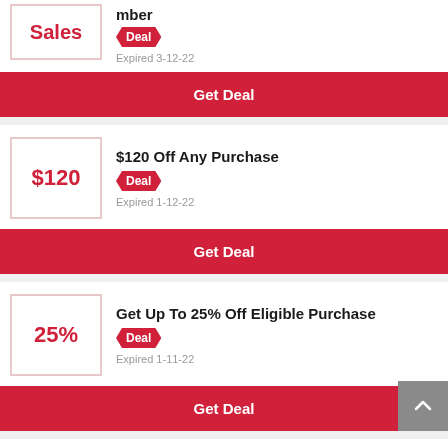[Figure (other): Partial deal card at top: Sales label in red box, Deal badge, Expired 3-12-22, Get Deal button]
Deal
Expired 3-12-22
Get Deal
$120 Off Any Purchase
Deal
Expired 1-12-22
Get Deal
Get Up To 25% Off Eligible Purchase
Deal
Expired 1-11-22
Get Deal
Miami Getaway - 20% Off Selected Orders